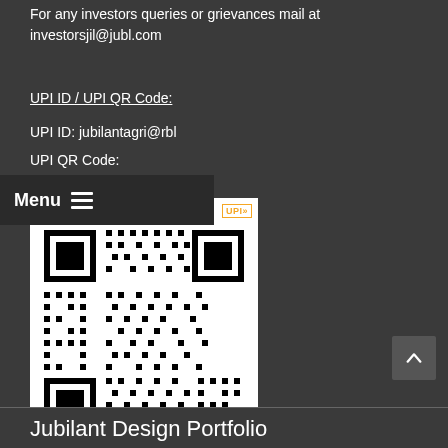For any investors queries or grievances mail at investorsjil@jubl.com
UPI ID / UPI QR Code:
UPI ID: jubilantagri@rbl
UPI QR Code:
[Figure (other): QR code image with header 'We accept payment through UPI' and footer 'UPI Virtual ID for jubilantagri@rbl']
Jubilant Design Portfolio